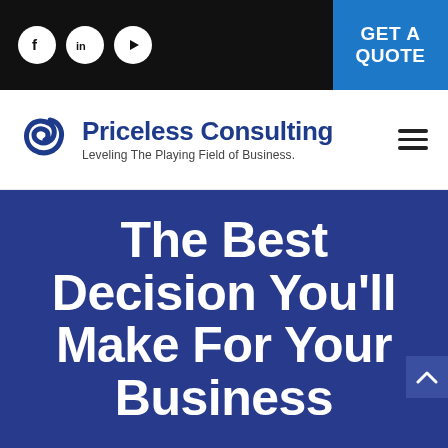[Figure (screenshot): Top black navigation bar with social media icons (Facebook, LinkedIn, YouTube) on the left and a blue 'GET A QUOTE' button on the right]
[Figure (logo): Priceless Consulting logo with blue swirl icon, company name in dark blue bold text, and tagline 'Leveling The Playing Field of Business.']
The Best Decision You'll Make For Your Business